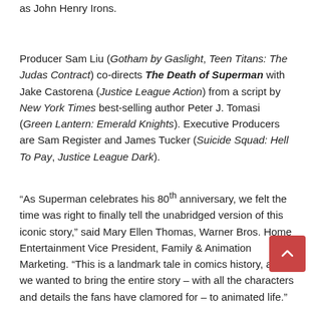as John Henry Irons.
Producer Sam Liu (Gotham by Gaslight, Teen Titans: The Judas Contract) co-directs The Death of Superman with Jake Castorena (Justice League Action) from a script by New York Times best-selling author Peter J. Tomasi (Green Lantern: Emerald Knights). Executive Producers are Sam Register and James Tucker (Suicide Squad: Hell To Pay, Justice League Dark).
“As Superman celebrates his 80th anniversary, we felt the time was right to finally tell the unabridged version of this iconic story,” said Mary Ellen Thomas, Warner Bros. Home Entertainment Vice President, Family & Animation Marketing. “This is a landmark tale in comics history, and we wanted to bring the entire story – with all the characters and details the fans have clamored for – to animated life.”